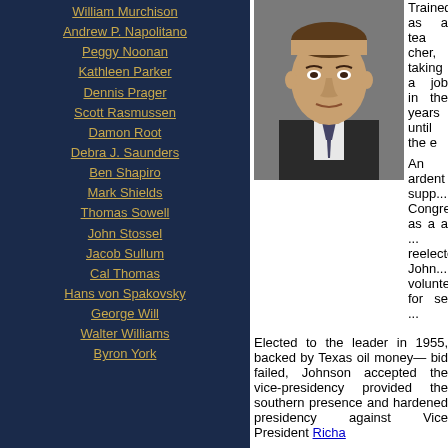William Murchison
Andrew P. Napolitano
Peggy Noonan
Kathleen Parker
Dennis Prager
Scott Rasmussen
Damon Root
Debra J. Saunders
Ben Shapiro
Mark Shields
Thomas Sowell
John Stossel
Jacob Sullum
Cal Thomas
Hans von Spakovsky
George Will
Walter Williams
Byron York
[Figure (photo): Portrait photograph of Lyndon B. Johnson in a suit and tie]
Trained as a teacher, taking a job in ... years until the e...
An ardent supp... Congress as a ... reelected, John... volunteer for se...
Elected to the ... leader in 1955, backed by Texas oil mon... bid failed, Johnson accepted the vice-pr... provided the southern presence and har... presidency against Vice President Richa...
Following Kennedy's tragic assassinat... Johnson pledged to carry on Kennedy's... succeed to the presidency have an eas... included the Civil Rights Act and the Eq... Kennedy legacy.
Elected in the largest plurality in hist... Goldwater as a war-monger, Johnson... pledge not to send troops to Vietna... administration, the parade of bodies, an... certainly no hope of success -- to the b... and an unraveling of his presidency.
President Johnson's "Great Society" pro... to almost incomprehensible domestic sp... subsequent administrations when poo...